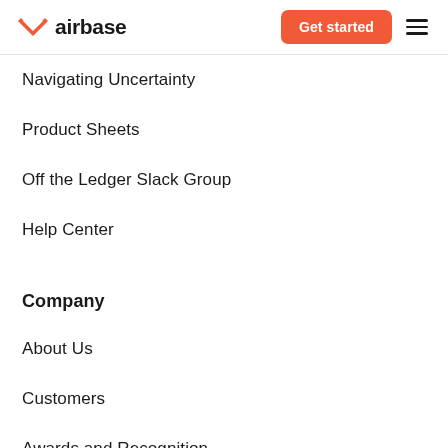airbase | Get started
Navigating Uncertainty
Product Sheets
Off the Ledger Slack Group
Help Center
Company
About Us
Customers
Awards and Recognition
Press
Leadership